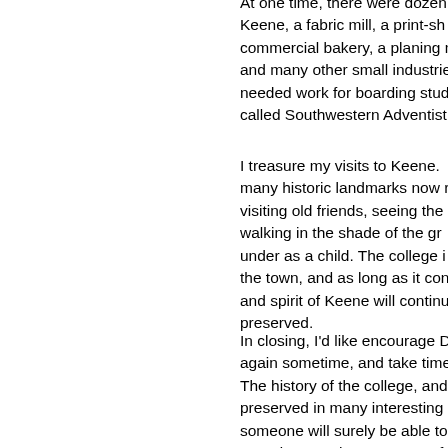At one time, there were dozen Keene, a fabric mill, a print-sh commercial bakery, a planing m and many other small industrie needed work for boarding stud called Southwestern Adventist
I treasure my visits to Keene. many historic landmarks now r visiting old friends, seeing the walking in the shade of the gr under as a child. The college i the town, and as long as it con and spirit of Keene will continu preserved.
In closing, I'd like encourage D again sometime, and take time The history of the college, and preserved in many interesting someone will surely be able to Grandparents house was. In fa - Steve Hubbard, Yakima, Was